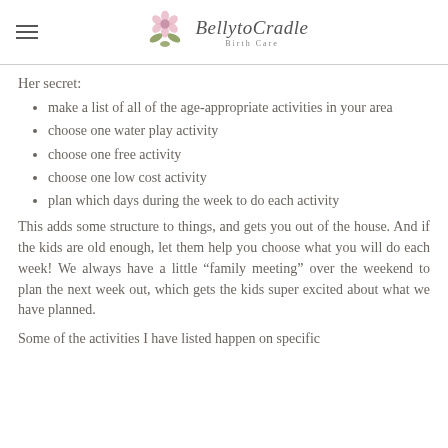BellytoCradle Birth Care
Her secret:
make a list of all of the age-appropriate activities in your area
choose one water play activity
choose one free activity
choose one low cost activity
plan which days during the week to do each activity
This adds some structure to things, and gets you out of the house. And if the kids are old enough, let them help you choose what you will do each week! We always have a little “family meeting” over the weekend to plan the next week out, which gets the kids super excited about what we have planned.
Some of the activities I have listed happen on specific